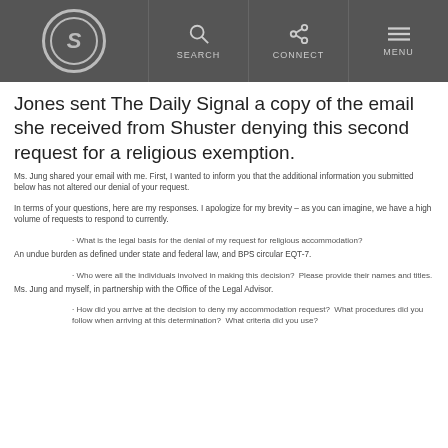The Daily Signal - SEARCH CONNECT MENU
Jones sent The Daily Signal a copy of the email she received from Shuster denying this second request for a religious exemption.
Ms. Jung shared your email with me. First, I wanted to inform you that the additional information you submitted below has not altered our denial of your request.
In terms of your questions, here are my responses. I apologize for my brevity – as you can imagine, we have a high volume of requests to respond to currently.
· What is the legal basis for the denial of my request for religious accommodation?
An undue burden as defined under state and federal law, and BPS circular EQT-7.
· Who were all the individuals involved in making this decision? Please provide their names and titles.
Ms. Jung and myself, in partnership with the Office of the Legal Advisor.
· How did you arrive at the decision to deny my accommodation request? What procedures did you follow when arriving at this determination? What criteria did you use?